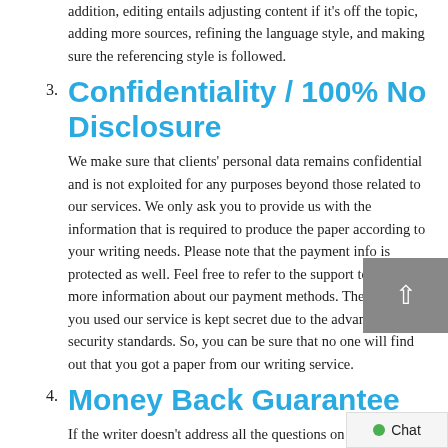addition, editing entails adjusting content if it's off the topic, adding more sources, refining the language style, and making sure the referencing style is followed.
Confidentiality / 100% No Disclosure
We make sure that clients' personal data remains confidential and is not exploited for any purposes beyond those related to our services. We only ask you to provide us with the information that is required to produce the paper according to your writing needs. Please note that the payment info is protected as well. Feel free to refer to the support team for more information about our payment methods. The fact that you used our service is kept secret due to the advanced security standards. So, you can be sure that no one will find out that you got a paper from our writing service.
Money Back Guarantee
If the writer doesn't address all the questions on your assignment brief or the delivered paper appears to be off the topic, you can ask for a refund. Or, if it is applicable,